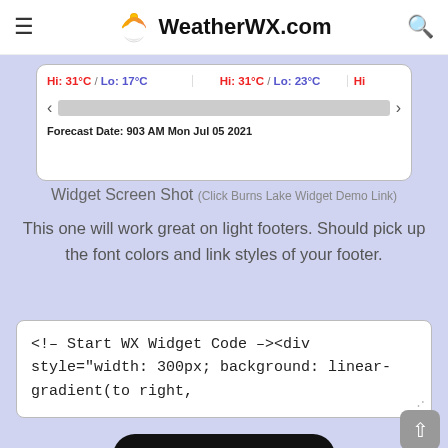WeatherWX.com
[Figure (screenshot): Widget screenshot showing weather forecast with Hi: 31°C / Lo: 17°C and Hi: 31°C / Lo: 23°C, scroll bar, Forecast Date: 903 AM Mon Jul 05 2021]
Widget Screen Shot (Click Burns Lake Widget Demo Link)
This one will work great on light footers. Should pick up the font colors and link styles of your footer.
<!-- Start WX Widget Code --><div style="width: 300px; background: linear-gradient(to right,
COPY CODE
BURNS LAKE WIDGET DEMO